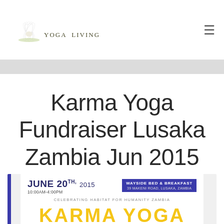[Figure (logo): Yoga Living logo with white lotus flower and text 'YOGA LIVING' in olive/dark serif font]
Karma Yoga Fundraiser Lusaka Zambia Jun 2015
[Figure (infographic): Event flyer partially visible: JUNE 20th, 2015, 10:00AM-4:00PM, Wayside Bed & Breakfast, 39 Makeni Road, Lusaka, Zambia. Celebrating Habitat for Humanity Zambia. KARMA YOGA text in yellow at bottom.]